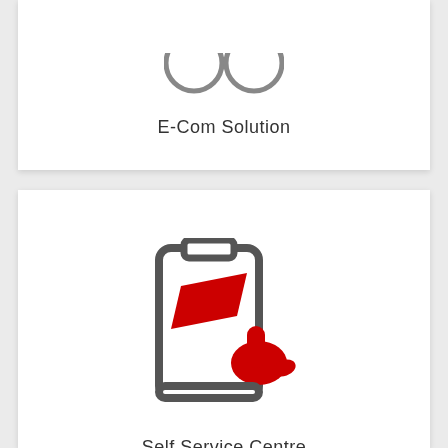[Figure (illustration): Two grey circular icons side by side (partially visible at top), representing E-Com Solution]
E-Com Solution
[Figure (illustration): Self-service kiosk icon: a grey kiosk/terminal outline with a red parallelogram on the screen and a red pointing hand cursor]
Self Service Centre